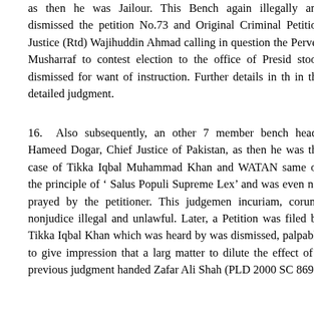as then he was Jailour. This Bench again illegally and dismissed the petition No.73 and Original Criminal Petition Justice (Rtd) Wajihuddin Ahmad calling in question the Pervez Musharraf to contest election to the office of Presid stood dismissed for want of instruction. Further details in th in the detailed judgment.
16. Also subsequently, an other 7 member bench headed Hameed Dogar, Chief Justice of Pakistan, as then he was the case of Tikka Iqbal Muhammad Khan and WATAN same on the principle of ' Salus Populi Supreme Lex' and was even not prayed by the petitioner. This judgemen incuriam, corum-nonjudice illegal and unlawful. Later, a Petition was filed by Tikka Iqbal Khan which was heard by was dismissed, palpably to give impression that a larg matter to dilute the effect of a previous judgment handed Zafar Ali Shah (PLD 2000 SC 869).